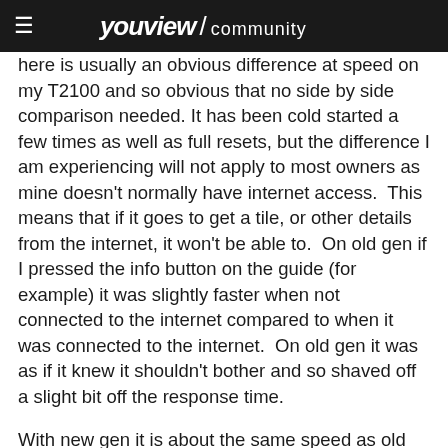youview / community
here is usually an obvious difference at speed on my T2100 and so obvious that no side by side comparison needed. It has been cold started a few times as well as full resets, but the difference I am experiencing will not apply to most owners as mine doesn't normally have internet access.  This means that if it goes to get a tile, or other details from the internet, it won't be able to.  On old gen if I pressed the info button on the guide (for example) it was slightly faster when not connected to the internet compared to when it was connected to the internet.  On old gen it was as if it knew it shouldn't bother and so shaved off a slight bit off the response time.
With new gen it is about the same speed as old gen when I compare the two using the i button in the guide and is internet connected.  But comparing the speed with out the internet then the new gen takes a good 2 seconds longer to display the info details from the freeview epg details instead of the youview cloud details.
Hopefully once the extended caching of the internet details